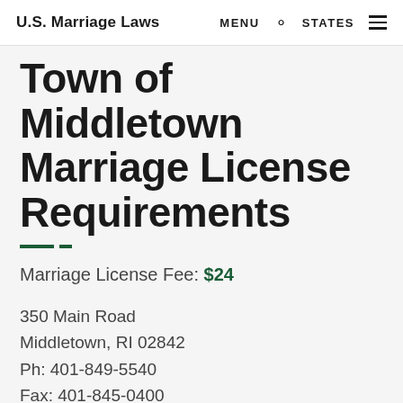U.S. Marriage Laws  MENU  STATES
Town of Middletown Marriage License Requirements
Marriage License Fee: $24
350 Main Road
Middletown, RI 02842
Ph: 401-849-5540
Fax: 401-845-0400
8:30 a.m. -4:30 p.m./ M – F
(except for Court Approved Holidays)